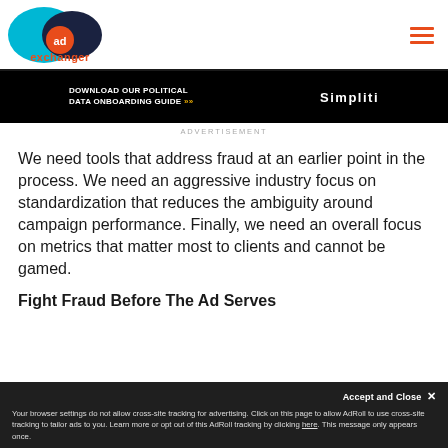AdExchanger
[Figure (screenshot): AdExchanger logo with cyan and dark blue overlapping ellipses and orange 'ad' circle, plus hamburger menu icon]
[Figure (screenshot): Advertisement banner: 'Download Our Political Data Onboarding Guide' with Simpliti logo on black background]
ADVERTISEMENT
We need tools that address fraud at an earlier point in the process. We need an aggressive industry focus on standardization that reduces the ambiguity around campaign performance. Finally, we need an overall focus on metrics that matter most to clients and cannot be gamed.
Fight Fraud Before The Ad Serves
Your browser settings do not allow cross-site tracking for advertising. Click on this page to allow AdRoll to use cross-site tracking to tailor ads to you. Learn more or opt out of this AdRoll tracking by clicking here. This message only appears once.